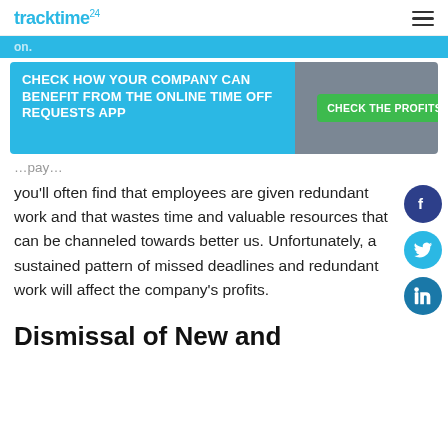tracktime24
[Figure (infographic): CTA banner with blue left panel reading CHECK HOW YOUR COMPANY CAN BENEFIT FROM THE ONLINE TIME OFF REQUESTS APP and gray right panel with green button CHECK THE PROFITS!]
you'll often find that employees are given redundant work and that wastes time and valuable resources that can be channeled towards better us. Unfortunately, a sustained pattern of missed deadlines and redundant work will affect the company's profits.
Dismissal of New and